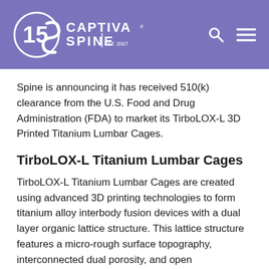Captiva Spine — 15 Years EST. 2007
Spine is announcing it has received 510(k) clearance from the U.S. Food and Drug Administration (FDA) to market its TirboLOX-L 3D Printed Titanium Lumbar Cages.
TirboLOX-L Titanium Lumbar Cages
TirboLOX-L Titanium Lumbar Cages are created using advanced 3D printing technologies to form titanium alloy interbody fusion devices with a dual layer organic lattice structure. This lattice structure features a micro-rough surface topography, interconnected dual porosity, and open architecture.  Titanium alloy implants with micro-rough surface topographies and dual